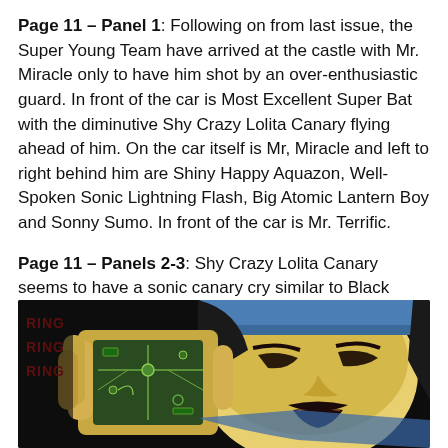Page 11 – Panel 1: Following on from last issue, the Super Young Team have arrived at the castle with Mr. Miracle only to have him shot by an over-enthusiastic guard. In front of the car is Most Excellent Super Bat with the diminutive Shy Crazy Lolita Canary flying ahead of him. On the car itself is Mr, Miracle and left to right behind him are Shiny Happy Aquazon, Well-Spoken Sonic Lightning Flash, Big Atomic Lantern Boy and Sonny Sumo. In front of the car is Mr. Terrific.
Page 11 – Panels 2-3: Shy Crazy Lolita Canary seems to have a sonic canary cry similar to Black Canary.
[Figure (illustration): Comic book panel showing a character holding a device with 'RING RING RING' text in red in the top left corner. The character has dark hair and appears to be speaking or reacting while holding what appears to be a communication device or phone showing a circuit/map display.]